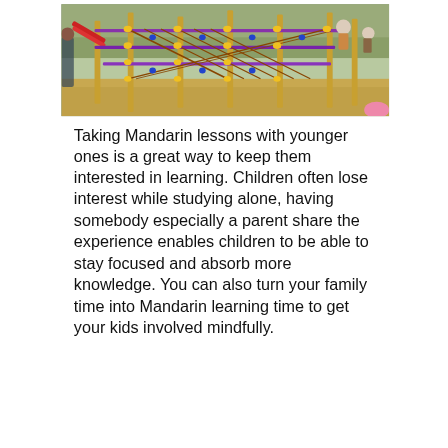[Figure (photo): Outdoor playground equipment with colorful climbing frame structures, rope nets, and metal posts in yellow and red. Sandy ground beneath. Children and adults visible in background.]
Taking Mandarin lessons with younger ones is a great way to keep them interested in learning. Children often lose interest while studying alone, having somebody especially a parent share the experience enables children to be able to stay focused and absorb more knowledge. You can also turn your family time into Mandarin learning time to get your kids involved mindfully.